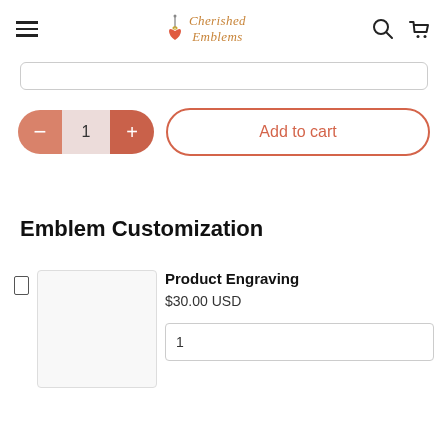Cherished Emblems
[Figure (screenshot): Partial search bar at top of page]
[Figure (screenshot): Quantity stepper control with minus, 1, plus buttons and Add to cart button]
Emblem Customization
Product Engraving
$30.00 USD
1